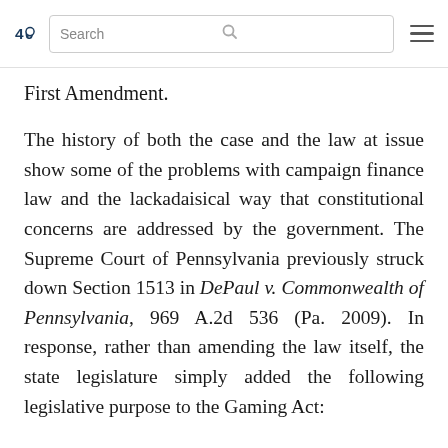40 [logo] Search [hamburger menu]
First Amendment.
The history of both the case and the law at issue show some of the problems with campaign finance law and the lackadaisical way that constitutional concerns are addressed by the government. The Supreme Court of Pennsylvania previously struck down Section 1513 in DePaul v. Commonwealth of Pennsylvania, 969 A.2d 536 (Pa. 2009). In response, rather than amending the law itself, the state legislature simply added the following legislative purpose to the Gaming Act: